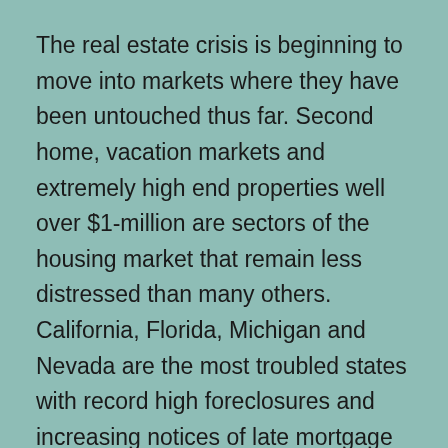The real estate crisis is beginning to move into markets where they have been untouched thus far. Second home, vacation markets and extremely high end properties well over $1-million are sectors of the housing market that remain less distressed than many others. California, Florida, Michigan and Nevada are the most troubled states with record high foreclosures and increasing notices of late mortgage payments being recorded. Banking officials concede by the time the fall out is over few urban markets will remain unaffected.
The concentration of fraud and